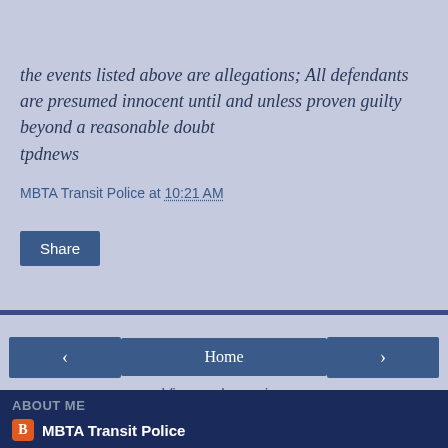the events listed above are allegations; All defendants are presumed innocent until and unless proven guilty beyond a reasonable doubt
tpdnews
MBTA Transit Police at 10:21 AM
ABOUT ME
MBTA Transit Police